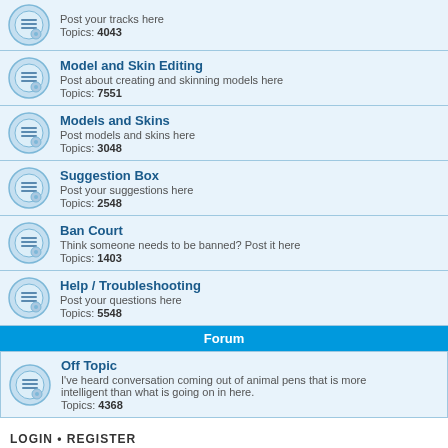Post your tracks here
Topics: 4043
Model and Skin Editing
Post about creating and skinning models here
Topics: 7551
Models and Skins
Post models and skins here
Topics: 3048
Suggestion Box
Post your suggestions here
Topics: 2548
Ban Court
Think someone needs to be banned? Post it here
Topics: 1403
Help / Troubleshooting
Post your questions here
Topics: 5548
Forum
Off Topic
I've heard conversation coming out of animal pens that is more intelligent than what is going on in here.
Topics: 4368
LOGIN • REGISTER
Username: